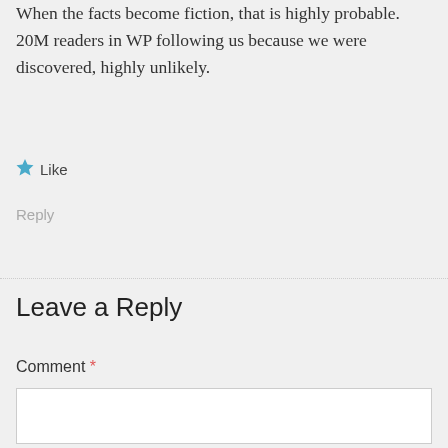When the facts become fiction, that is highly probable. 20M readers in WP following us because we were discovered, highly unlikely.
★ Like
Reply
Leave a Reply
Comment *